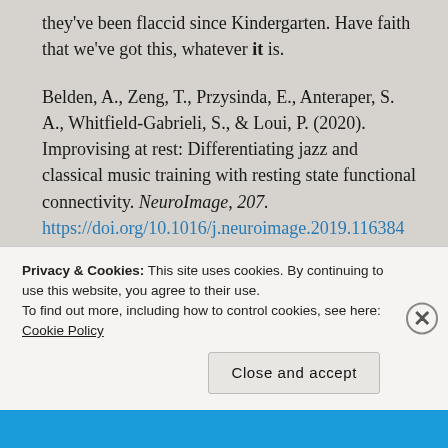they've been flaccid since Kindergarten. Have faith that we've got this, whatever it is.
Belden, A., Zeng, T., Przysinda, E., Anteraper, S. A., Whitfield-Gabrieli, S., & Loui, P. (2020). Improvising at rest: Differentiating jazz and classical music training with resting state functional connectivity. NeuroImage, 207. https://doi.org/10.1016/j.neuroimage.2019.116384
Harris, R. & de Jong B.M., (2015). Differential parietal and temporal contributions to music perception in improvising and score-dependent musicians, an fMRI study. Brain
Privacy & Cookies: This site uses cookies. By continuing to use this website, you agree to their use.
To find out more, including how to control cookies, see here: Cookie Policy
Close and accept